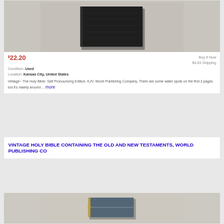[Figure (photo): Photo of a dark brown/black hardcover Bible book, partially cropped at top]
$22.20
Buy It Now
$4.83 Shipping
Condition: Used
Location: Kansas City, United States
Vintage~ The Holy Bible: Self Pronouncing Edition. KJV. World Publishing Company. There are some water spots on the first 2 pages but it’s mainly around ... more
VINTAGE HOLY BIBLE CONTAINING THE OLD AND NEW TESTAMENTS, WORLD PUBLISHING CO
[Figure (photo): Photo of a dark gray/blue hardcover Bible with a zipper, partially cropped]